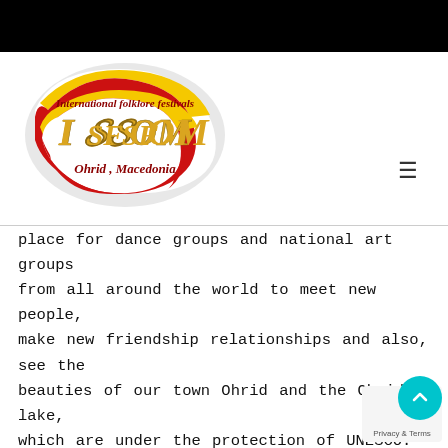[Figure (logo): ISFOM International Folklore Festivals logo with red and yellow swirl background, text reading 'International folklore festivals', 'I SF SFOM', 'Ohrid, Macedonia']
place for dance groups and national art groups from all around the world to meet new people, make new friendship relationships and also, see the beauties of our town Ohrid and the Ohrid lake, which are under the protection of UNESCO. The idea of the festival is to develop new forms of communication in international dialogue and international cooperation in the future.